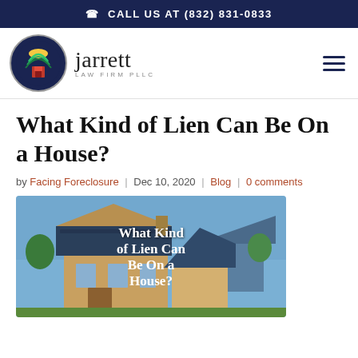CALL US AT (832) 831-0833
[Figure (logo): Jarrett Law Firm PLLC logo with circular emblem and firm name]
What Kind of Lien Can Be On a House?
by Facing Foreclosure | Dec 10, 2020 | Blog | 0 comments
[Figure (photo): Photo of houses with overlay text reading 'What Kind of Lien Can Be On a House?']